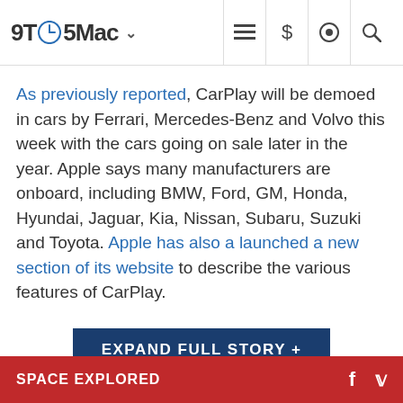9TO5Mac
As previously reported, CarPlay will be demoed in cars by Ferrari, Mercedes-Benz and Volvo this week with the cars going on sale later in the year. Apple says many manufacturers are onboard, including BMW, Ford, GM, Honda, Hyundai, Jaguar, Kia, Nissan, Subaru, Suzuki and Toyota. Apple has also a launched a new section of its website to describe the various features of CarPlay.
EXPAND FULL STORY +
SPACE EXPLORED